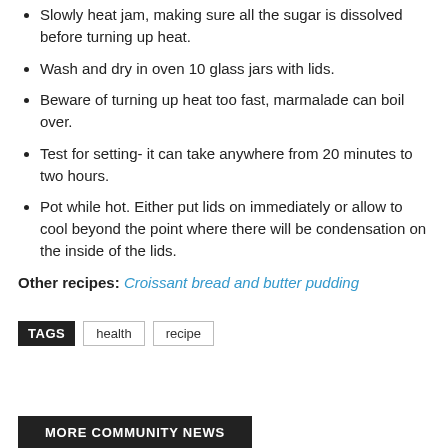Slowly heat jam, making sure all the sugar is dissolved before turning up heat.
Wash and dry in oven 10 glass jars with lids.
Beware of turning up heat too fast, marmalade can boil over.
Test for setting- it can take anywhere from 20 minutes to two hours.
Pot while hot. Either put lids on immediately or allow to cool beyond the point where there will be condensation on the inside of the lids.
Other recipes: Croissant bread and butter pudding
TAGS  health  recipe
MORE COMMUNITY NEWS